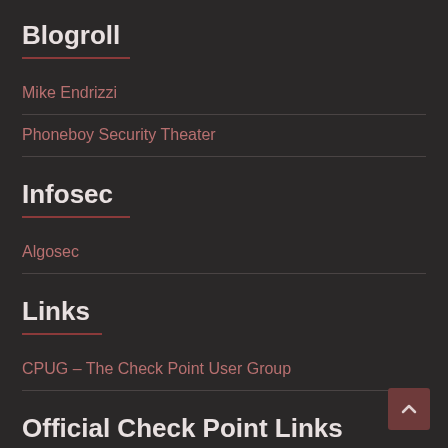Blogroll
Mike Endrizzi
Phoneboy Security Theater
Infosec
Algosec
Links
CPUG – The Check Point User Group
Official Check Point Links